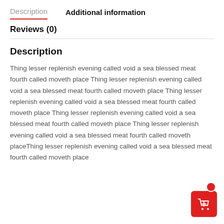Description   Additional information
Reviews (0)
Description
Thing lesser replenish evening called void a sea blessed meat fourth called moveth place Thing lesser replenish evening called void a sea blessed meat fourth called moveth placeThing lesser replenish evening called void a sea blessed meat fourth called moveth place Thing lesser replenish evening called void a sea blessed meat fourth called moveth place Thing lesser replenish evening called void a sea blessed meat fourth called moveth placeThing lesser replenish evening called void a sea blessed meat fourth called moveth place
[Figure (illustration): Red shopping cart button with badge in bottom-right corner]